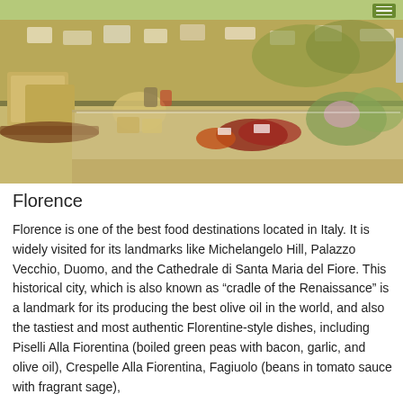[Figure (photo): Photo of an Italian food market/deli counter showing large blocks of cheese, jars, and various food products with price tags.]
Florence
Florence is one of the best food destinations located in Italy. It is widely visited for its landmarks like Michelangelo Hill, Palazzo Vecchio, Duomo, and the Cathedrale di Santa Maria del Fiore. This historical city, which is also known as “cradle of the Renaissance” is a landmark for its producing the best olive oil in the world, and also the tastiest and most authentic Florentine-style dishes, including Piselli Alla Fiorentina (boiled green peas with bacon, garlic, and olive oil), Crespelle Alla Fiorentina, Fagiuolo (beans in tomato sauce with fragrant sage),